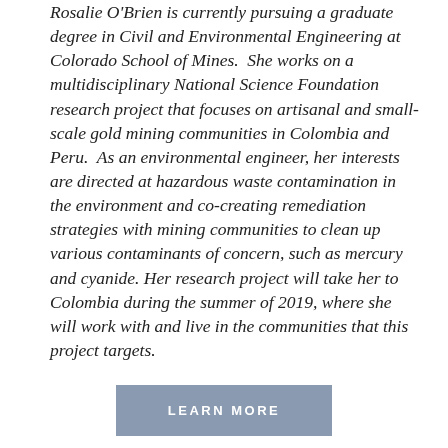Rosalie O'Brien is currently pursuing a graduate degree in Civil and Environmental Engineering at Colorado School of Mines.  She works on a multidisciplinary National Science Foundation research project that focuses on artisanal and small-scale gold mining communities in Colombia and Peru.  As an environmental engineer, her interests are directed at hazardous waste contamination in the environment and co-creating remediation strategies with mining communities to clean up various contaminants of concern, such as mercury and cyanide. Her research project will take her to Colombia during the summer of 2019, where she will work with and live in the communities that this project targets.
LEARN MORE